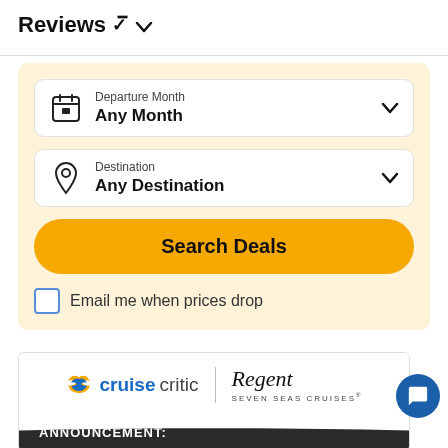Reviews ∨
[Figure (screenshot): Search panel with Departure Month dropdown (Any Month), Destination dropdown (Any Destination), Search Deals button, and Email me when prices drop checkbox, on a pale yellow background]
[Figure (logo): Cruise Critic logo paired with Regent Seven Seas Cruises logo, above a dark wave bar with ANNOUNCEMENT: text]